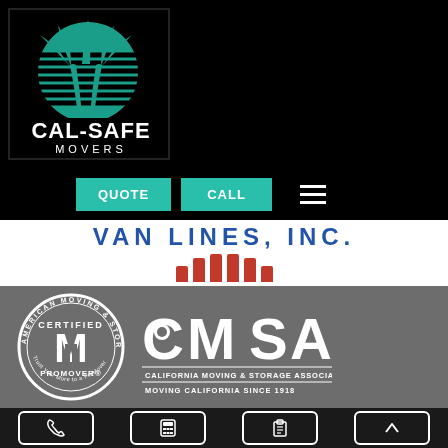[Figure (logo): Cal-Safe Movers logo: black background with palm tree and sun graphic, white text CAL-SAFE MOVERS]
[Figure (screenshot): Navigation bar with teal QUOTE and CALL buttons and hamburger menu on black background]
[Figure (logo): Van Lines, Inc. logo banner: blue text VAN LINES, INC. with red segmented bar graphic on white background]
[Figure (logo): American Moving & Storage Association Certified ProMover circular badge logo in white on gray background]
[Figure (logo): CMSA California Moving & Storage Association - Moving California Since 1918 logo in white on gray]
[Figure (infographic): Bottom navigation bar with phone, calculator, clipboard, and up-arrow icons in white rounded squares on dark background]